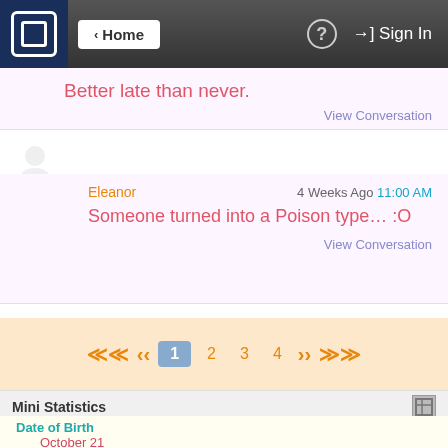Home | Sign In
Better late than never.
View Conversation
Eleanor   4 Weeks Ago  11:00 AM
Someone turned into a Poison type… :O
View Conversation
1  2  3  4
Mini Statistics
Date of Birth
October 21
Join Date
May 29th, 2011
Total Posts
16,746
Blog Entries
0